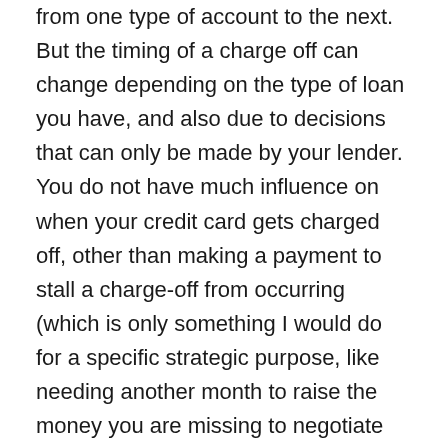from one type of account to the next. But the timing of a charge off can change depending on the type of loan you have, and also due to decisions that can only be made by your lender. You do not have much influence on when your credit card gets charged off, other than making a payment to stall a charge-off from occurring (which is only something I would do for a specific strategic purpose, like needing another month to raise the money you are missing to negotiate the final pay off amount).
When it comes to unpaid credit card accounts, a charge-off occurs when the credit issuer either chooses to, or must, recognize an unpaid loan